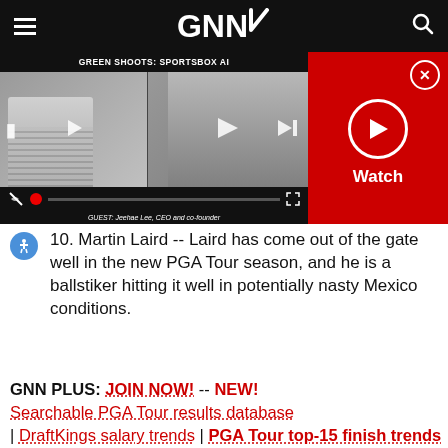GNN
[Figure (screenshot): Video player showing 'GREEN SHOOTS: SPORTSBOX AI' with two participants in split screen. Guest: Jeehae Lee, CEO and co-founder. Red panel on right with Watch button and close X button.]
10. Martin Laird -- Laird has come out of the gate well in the new PGA Tour season, and he is a ballstiker hitting it well in potentially nasty Mexico conditions.
GNN PLUS: JOIN NOW! -- NEW! Searchable PGA Tour results database | DraftKings salary trends | PGA Tour top-15 finish trends